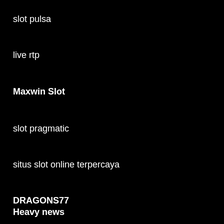slot pulsa
live rtp
Maxwin Slot
slot pragmatic
situs slot online terpercaya
DRAGONS77
Heavy news